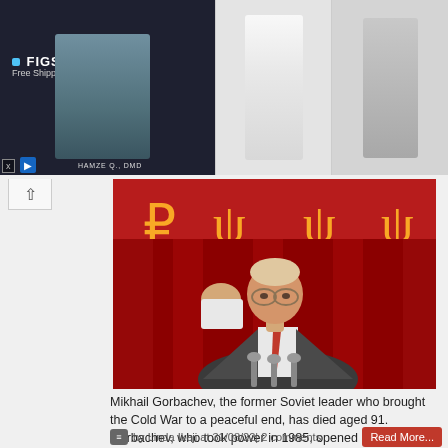[Figure (photo): Advertisement banner for FIGS medical scrubs brand. Left side shows dark background with FIGS logo, tagline 'Free Shipping on Orders $50+', and a person in dark scrubs. Right side shows a doctor in white coat and a woman in grey scrubs.]
[Figure (photo): Photograph of Mikhail Gorbachev speaking at a podium in front of a red banner with Soviet hammer and sickle symbols. He is wearing a suit and red tie, gesturing with one hand, with microphones in front.]
Mikhail Gorbachev, the former Soviet leader who brought the Cold War to a peaceful end, has died aged 91.   Gorbachev, who took power in 1985, opened up the Soviet Union to the world an ...
by Linda Ikeji at 31/08/22| 2 comments